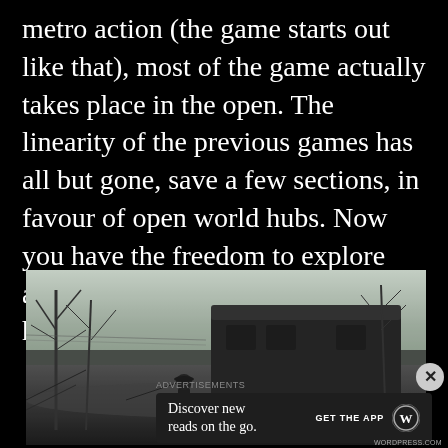metro action (the game starts out like that), most of the game actually takes place in the open. The linearity of the previous games has all but gone, save a few sections, in favour of open world hubs. Now you have the freedom to explore and interact with these open world hubs however you wish.
[Figure (photo): Screenshot from a game showing a post-apocalyptic winter scene with a figure standing near an old abandoned train car, surrounded by bare trees in foggy/snowy conditions. The image is in desaturated, grayish tones.]
ADVERTISEMENTS
Discover new reads on the go. GET THE APP [WordPress logo]